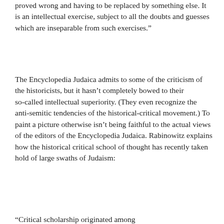proved wrong and having to be replaced by something else. It is an intellectual exercise, subject to all the doubts and guesses which are inseparable from such exercises.”
The Encyclopedia Judaica admits to some of the criticism of the historicists, but it hasn’t completely bowed to their so-called intellectual superiority. (They even recognize the anti-semitic tendencies of the historical-critical movement.) To paint a picture otherwise isn’t being faithful to the actual views of the editors of the Encyclopedia Judaica. Rabinowitz explains how the historical critical school of thought has recently taken hold of large swaths of Judaism:
“Critical scholarship originated among